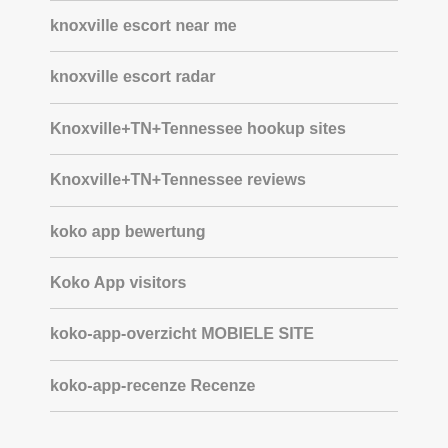knoxville escort near me
knoxville escort radar
Knoxville+TN+Tennessee hookup sites
Knoxville+TN+Tennessee reviews
koko app bewertung
Koko App visitors
koko-app-overzicht MOBIELE SITE
koko-app-recenze Recenze